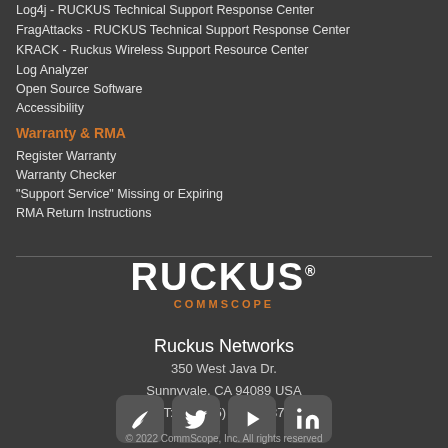Log4j - RUCKUS Technical Support Response Center
FragAttacks - RUCKUS Technical Support Response Center
KRACK - Ruckus Wireless Support Resource Center
Log Analyzer
Open Source Software
Accessibility
Warranty & RMA
Register Warranty
Warranty Checker
"Support Service" Missing or Expiring
RMA Return Instructions
[Figure (logo): RUCKUS COMMSCOPE logo - white RUCKUS text with registered trademark symbol and orange COMMSCOPE text below]
Ruckus Networks
350 West Java Dr.
Sunnyvale, CA 94089 USA
T: +1 (855) 478-2587
[Figure (other): Social media icons: Ruckus/feather icon, Twitter bird, YouTube play button, LinkedIn]
© 2022 CommScope, Inc. All rights reserved